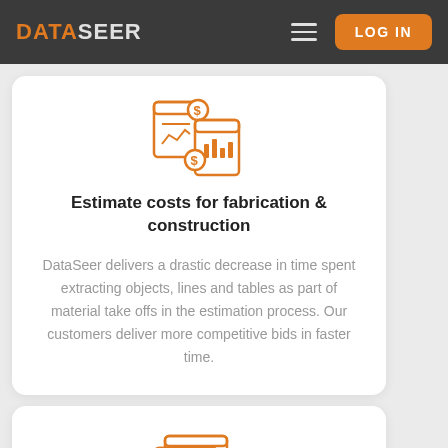DATASEER — LOG IN
[Figure (illustration): Orange line-art icon showing financial documents with dollar signs and a chart]
Estimate costs for fabrication & construction
DataSeer delivers a drastic decrease in time spent extracting objects, lines and tables as part of material take offs in the estimation process. Our customers deliver more competitive bids in faster time.
[Figure (illustration): Orange line-art icon showing dashboard/report screens with charts and data]